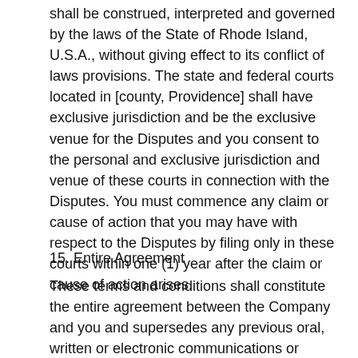shall be construed, interpreted and governed by the laws of the State of Rhode Island, U.S.A., without giving effect to its conflict of laws provisions. The state and federal courts located in [county, Providence] shall have exclusive jurisdiction and be the exclusive venue for the Disputes and you consent to the personal and exclusive jurisdiction and venue of these courts in connection with the Disputes. You must commence any claim or cause of action that you may have with respect to the Disputes by filing only in these courts within one (1) year after the claim or cause of action arises.
15. Entire Agreement
These terms and conditions shall constitute the entire agreement between the Company and you and supersedes any previous oral, written or electronic communications or documents with respect to the subject matter herein. If any part of this Agreement is